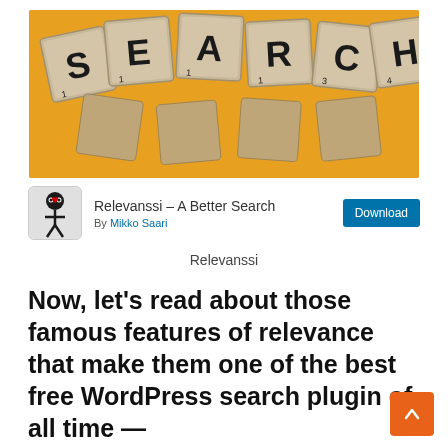[Figure (photo): Scrabble letter tiles spelling SEARCH arranged on a yellow/orange background]
Relevanssi – A Better Search
By Mikko Saari
Relevanssi
Now, let's read about those famous features of relevance that make them one of the best free WordPress search plugin of all time —